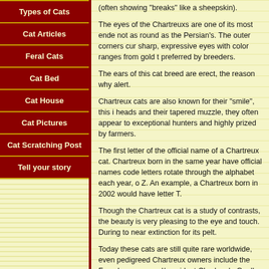Types of Cats
Cat Articles
Feral Cats
Cat Bed
Cat House
Cat Pictures
Cat Scratching Post
Tell your story
(often showing "breaks" like a sheepskin).
The eyes of the Chartreuxs are one of its most endearing features, not as round as the Persian's. The outer corners cur sharp, expressive eyes with color ranges from gold t preferred by breeders.
The ears of this cat breed are erect, the reason why alert.
Chartreux cats are also known for their "smile", this i heads and their tapered muzzle, they often appear t exceptional hunters and highly prized by farmers.
The first letter of the official name of a Chartreux cat. Chartreux born in the same year have official names code letters rotate through the alphabet each year, o Z. An example, a Chartreux born in 2002 would have letter T.
Though the Chartreux cat is a study of contrasts, the beauty is very pleasing to the eye and touch. During to near extinction for its pelt.
Today these cats are still quite rare worldwide, even pedigreed Chartreux owners include the French nov general/president Charles de Gaulle.